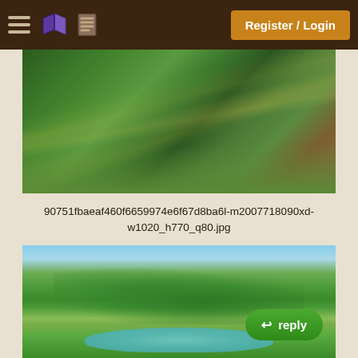Register / Login
[Figure (photo): Aerial or ground-level view of a pine forest with tall trees casting long shadows across green grass and undergrowth, warm sunlight filtering through the trees]
90751fbaeaf460f6659974e6f67d8ba6l-m2007718090xd-w1020_h770_q80.jpg
[Figure (photo): Scenic outdoor landscape showing a pond or small lake reflecting the sky, surrounded by lush green trees including a large central tree, with manicured grass lawn in the foreground on a sunny day]